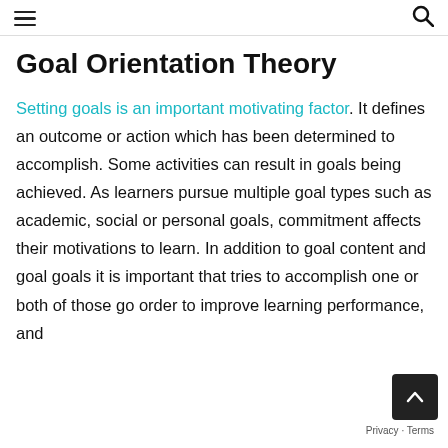≡ [hamburger menu]  🔍 [search icon]
Goal Orientation Theory
Setting goals is an important motivating factor. It defines an outcome or action which has been determined to accomplish. Some activities can result in goals being achieved. As learners pursue multiple goal types such as academic, social or personal goals, commitment affects their motivations to learn. In addition to goal content and goal goals it is important that tries to accomplish one or both of those go order to improve learning performance, and